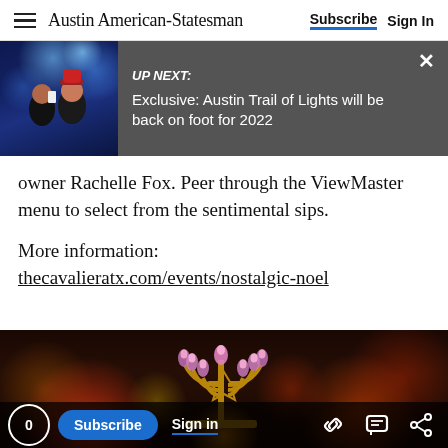Austin American-Statesman  Subscribe  Sign In
[Figure (screenshot): UP NEXT banner showing two women at Trail of Lights with headline: Exclusive: Austin Trail of Lights will be back on foot for 2022]
owner Rachelle Fox. Peer through the ViewMaster menu to select from the sentimental sips.
More information:
thecavalieratx.com/events/nostalgic-noel
[Figure (photo): Photo of a menorah with pink/purple candle bulbs and Star of David, decorated with colorful lights in the background]
0  Subscribe  Sign in